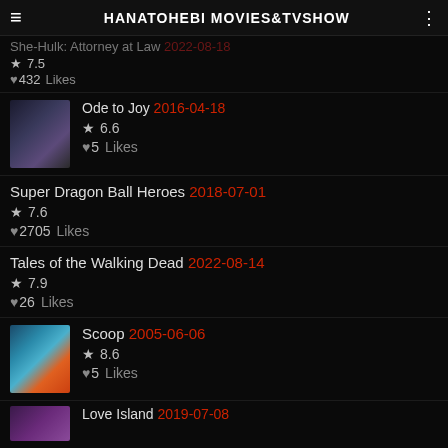HANATOHEBI MOVIES&TVSHOW
She-Hulk: Attorney at Law 2022-08-18 ★ 7.5 ♥432 Likes
Ode to Joy 2016-04-18 ★ 6.6 ♥5 Likes
Super Dragon Ball Heroes 2018-07-01 ★ 7.6 ♥2705 Likes
Tales of the Walking Dead 2022-08-14 ★ 7.9 ♥26 Likes
Scoop 2005-06-06 ★ 8.6 ♥5 Likes
Love Island 2019-07-08